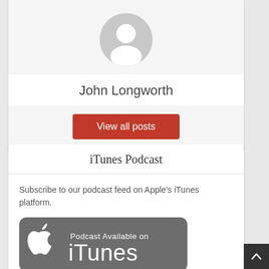[Figure (illustration): Default user avatar - grey circle with white silhouette of a person]
John Longworth
[Figure (other): Red button labeled 'View all posts']
iTunes Podcast
Subscribe to our podcast feed on Apple's iTunes platform.
[Figure (logo): iTunes podcast badge - dark grey rounded rectangle with Apple logo and text 'Podcast Available on iTunes']